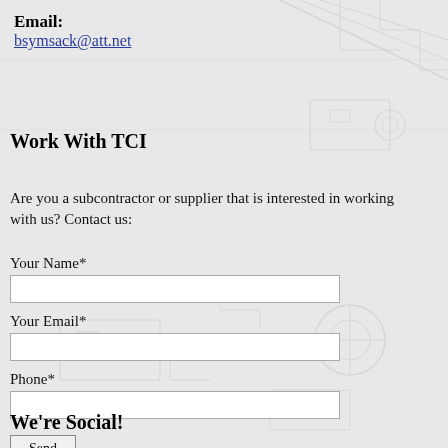Email:
bsymsack@att.net
Work With TCI
Are you a subcontractor or supplier that is interested in working with us? Contact us:
Your Name*
Your Email*
Phone*
Send
We’re Social!